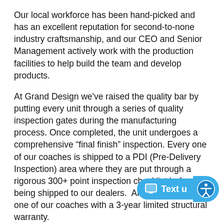Our local workforce has been hand-picked and has an excellent reputation for second-to-none industry craftsmanship, and our CEO and Senior Management actively work with the production facilities to help build the team and develop products.
At Grand Design we've raised the quality bar by putting every unit through a series of quality inspection gates during the manufacturing process. Once completed, the unit undergoes a comprehensive “final finish” inspection. Every one of our coaches is shipped to a PDI (Pre-Delivery Inspection) area where they are put through a rigorous 300+ point inspection checklist before being shipped to our dealers.  And, we back every one of our coaches with a 3-year limited structural warranty.
At Grand Design our goal is simple – continue leading the industry with quality products while
[Figure (other): Blue 'Text us' chat button with accessibility icon overlay in bottom-right corner]